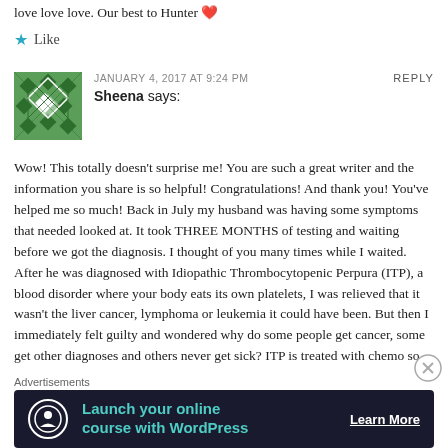love love love. Our best to Hunter ❤
Like
JANUARY 4, 2017 AT 9:24 PM
Sheena says:
REPLY
Wow! This totally doesn't surprise me! You are such a great writer and the information you share is so helpful! Congratulations! And thank you! You've helped me so much! Back in July my husband was having some symptoms that needed looked at. It took THREE MONTHS of testing and waiting before we got the diagnosis. I thought of you many times while I waited. After he was diagnosed with Idiopathic Thrombocytopenic Perpura (ITP), a blood disorder where your body eats its own platelets, I was relieved that it wasn't the liver cancer, lymphoma or leukemia it could have been. But then I immediately felt guilty and wondered why do some people get cancer, some get other diagnoses and others never get sick? ITP is treated with chemo so we went one day a week for five weeks and hung out all day at Texas Oncology. Again, I was humbled to see how many people are really sick – such brave souls – in that infusion room. And, again, I thought about you and Trent and the
Advertisements
[Figure (infographic): Dark advertisement banner: 'Launch your online course with WordPress' with Learn More button and a WordPress-style icon on left]